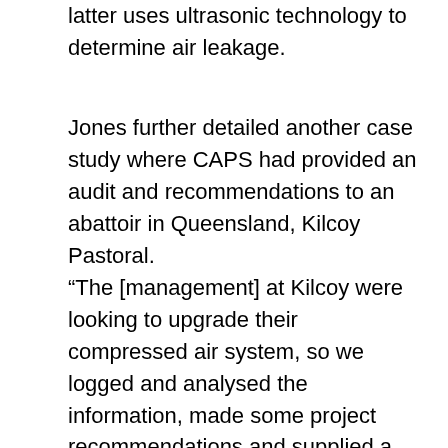latter uses ultrasonic technology to determine air leakage.
Jones further detailed another case study where CAPS had provided an audit and recommendations to an abattoir in Queensland, Kilcoy Pastoral.
“The [management] at Kilcoy were looking to upgrade their compressed air system, so we logged and analysed the information, made some project recommendations and supplied a new air compressor system,” Jones explained. “We also did a verification air audit of the new